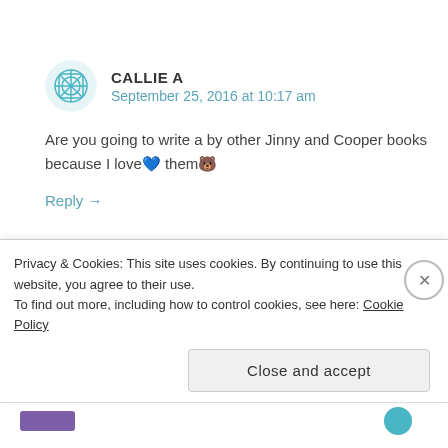CALLIE A
September 25, 2016 at 10:17 am
Are you going to write a by other Jinny and Cooper books because I love 💙 them🐻
Reply →
TANIAINGRAM
Privacy & Cookies: This site uses cookies. By continuing to use this website, you agree to their use.
To find out more, including how to control cookies, see here: Cookie Policy
Close and accept